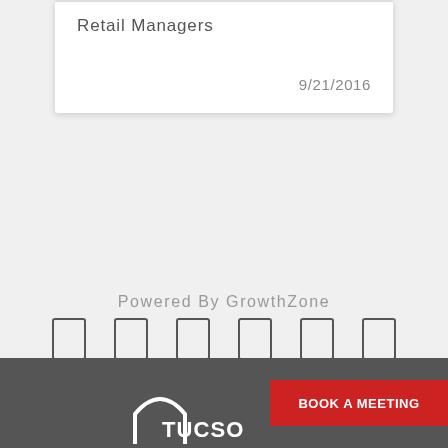Retail Managers
9/21/2016
Powered By GrowthZone
[Figure (other): Six icon boxes (social media or navigation icons) displayed in a horizontal row]
[Figure (other): Footer bar with dark gray background, TUCSO text and logo arch (white), and a red BOOK A MEETING button]
BOOK A MEETING
TUCSO